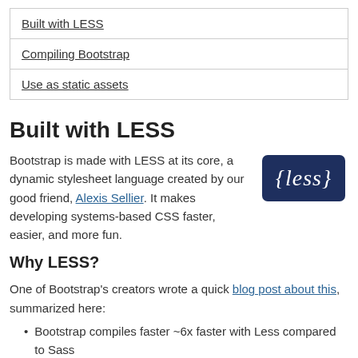Built with LESS
Compiling Bootstrap
Use as static assets
Built with LESS
Bootstrap is made with LESS at its core, a dynamic stylesheet language created by our good friend, Alexis Sellier. It makes developing systems-based CSS faster, easier, and more fun.
[Figure (logo): LESS CSS preprocessor logo — dark blue rounded rectangle with white italic 'less' text in brackets]
Why LESS?
One of Bootstrap's creators wrote a quick blog post about this, summarized here:
Bootstrap compiles faster ~6x faster with Less compared to Sass